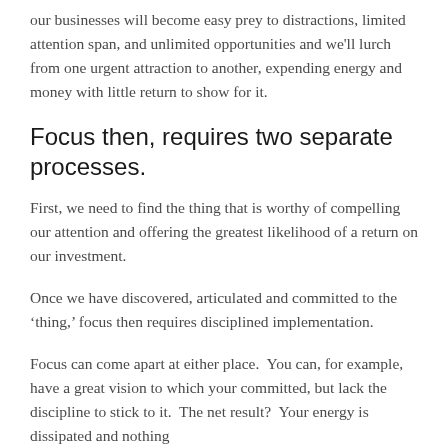our businesses will become easy prey to distractions, limited attention span, and unlimited opportunities and we'll lurch from one urgent attraction to another, expending energy and money with little return to show for it.
Focus then, requires two separate processes.
First, we need to find the thing that is worthy of compelling our attention and offering the greatest likelihood of a return on our investment.
Once we have discovered, articulated and committed to the 'thing,' focus then requires disciplined implementation.
Focus can come apart at either place.  You can, for example, have a great vision to which your committed, but lack the discipline to stick to it.  The net result?  Your energy is dissipated and nothing